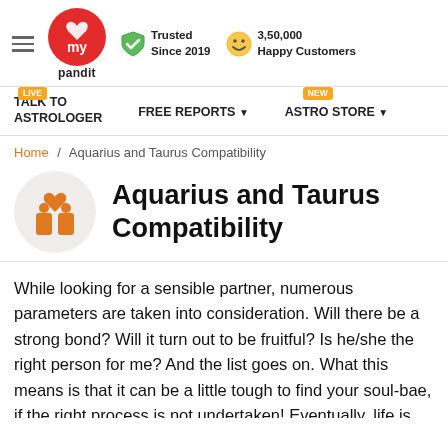my pandit | Trusted Since 2019 | 3,50,000 Happy Customers
TALK TO ASTROLOGER  FREE REPORTS  ASTRO STORE
Home / Aquarius and Taurus Compatibility
Aquarius and Taurus Compatibility
While looking for a sensible partner, numerous parameters are taken into consideration. Will there be a strong bond? Will it turn out to be fruitful? Is he/she the right person for me? And the list goes on. What this means is that it can be a little tough to find your soul-bae, if the right process is not undertaken! Eventually, life is uncertain, and leaving no stone unturned in looking for the right one is the correct